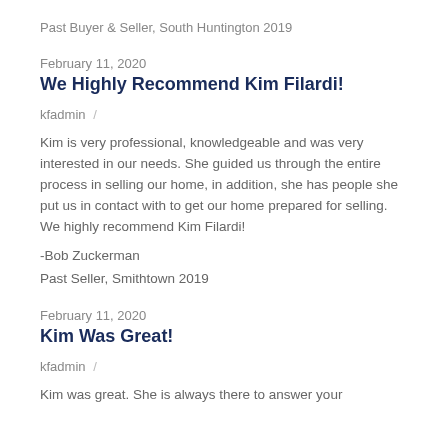Past Buyer & Seller, South Huntington 2019
February 11, 2020
We Highly Recommend Kim Filardi!
kfadmin /
Kim is very professional, knowledgeable and was very interested in our needs. She guided us through the entire process in selling our home, in addition, she has people she put us in contact with to get our home prepared for selling. We highly recommend Kim Filardi!
-Bob Zuckerman
Past Seller, Smithtown 2019
February 11, 2020
Kim Was Great!
kfadmin /
Kim was great. She is always there to answer your